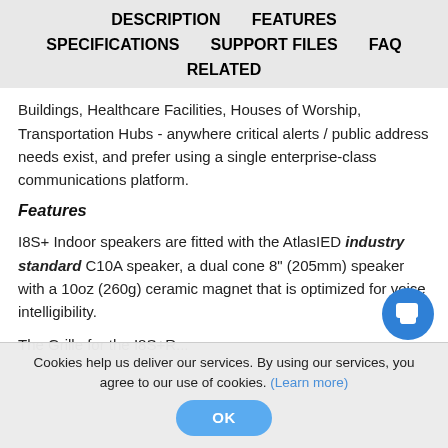DESCRIPTION   FEATURES   SPECIFICATIONS   SUPPORT FILES   FAQ   RELATED
Buildings, Healthcare Facilities, Houses of Worship, Transportation Hubs - anywhere critical alerts / public address needs exist, and prefer using a single enterprise-class communications platform.
Features
I8S+ Indoor speakers are fitted with the AtlasIED industry standard C10A speaker, a dual cone 8" (205mm) speaker with a 10oz (260g) ceramic magnet that is optimized for voice intelligibility.
The Grille for the I8S+...
Cookies help us deliver our services. By using our services, you agree to our use of cookies. (Learn more)